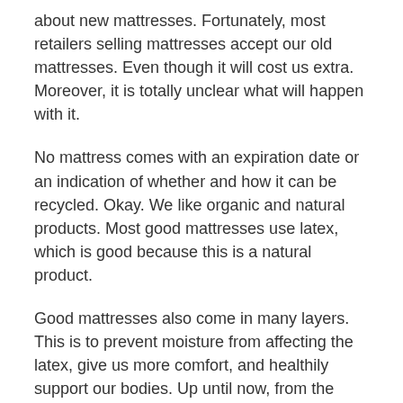about new mattresses. Fortunately, most retailers selling mattresses accept our old mattresses. Even though it will cost us extra. Moreover, it is totally unclear what will happen with it.
No mattress comes with an expiration date or an indication of whether and how it can be recycled. Okay. We like organic and natural products. Most good mattresses use latex, which is good because this is a natural product.
Good mattresses also come in many layers. This is to prevent moisture from affecting the latex, give us more comfort, and healthily support our bodies. Up until now, from the many mattresses, we have seen just one that uses a cover of organic cotton.
Based on the very limited data available I estimate that